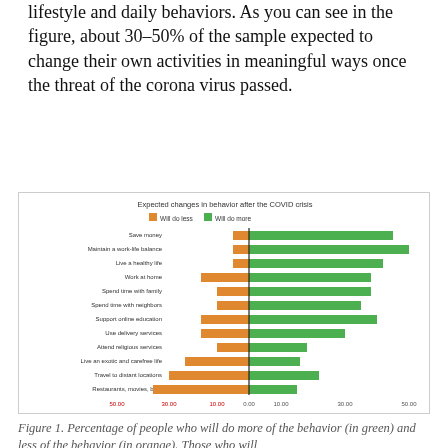lifestyle and daily behaviors. As you can see in the figure, about 30–50% of the sample expected to change their own activities in meaningful ways once the threat of the corona virus passed.
[Figure (bar-chart): Expected changes in behavior after the COVID crisis]
Figure 1. Percentage of people who will do more of the behavior (in green) and less of the behavior (in orange). Those who will